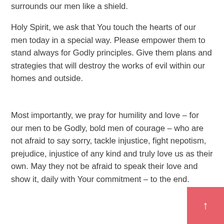surrounds our men like a shield.
Holy Spirit, we ask that You touch the hearts of our men today in a special way. Please empower them to stand always for Godly principles. Give them plans and strategies that will destroy the works of evil within our homes and outside.
Most importantly, we pray for humility and love – for our men to be Godly, bold men of courage – who are not afraid to say sorry, tackle injustice, fight nepotism, prejudice, injustice of any kind and truly love us as their own. May they not be afraid to speak their love and show it, daily with Your commitment – to the end.